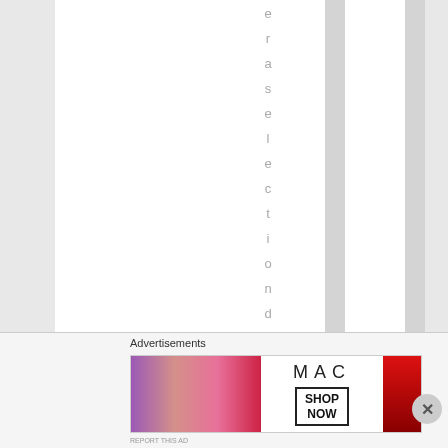[Figure (other): Striped gray and white vertical column layout with rotated/vertical text reading 'eraselectiondayget' displayed letter by letter vertically in gray color]
Advertisements
[Figure (photo): MAC cosmetics advertisement banner showing colorful lipsticks on the left, MAC logo text in the center, a SHOP NOW box, and a red lipstick on the right]